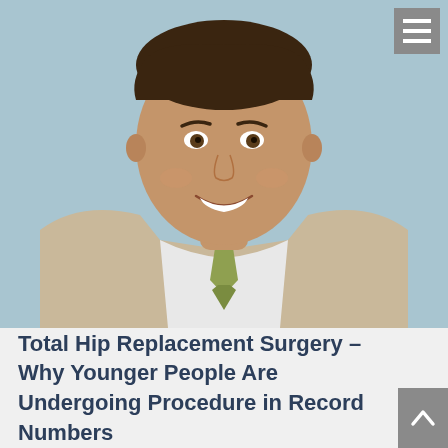[Figure (photo): Professional headshot of a male doctor/surgeon in a tan suit jacket, white dress shirt, and olive/light green tie, smiling, against a light blue background. A gray hamburger menu icon appears in the top-right corner.]
Total Hip Replacement Surgery – Why Younger People Are Undergoing Procedure in Record Numbers